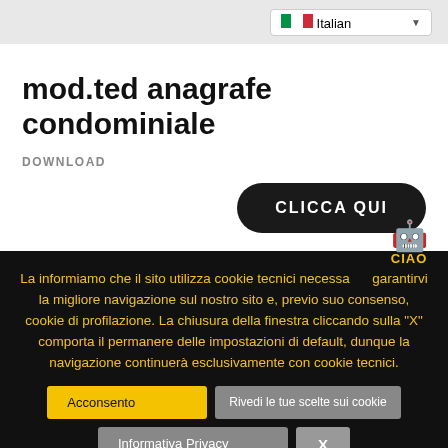Italian
mod.ted anagrafe condominiale
DOWNLOAD
CLICCA QUI
La informiamo che il sito utilizza cookie tecnici necessari a garantirvi la migliore navigazione sul nostro sito e, previo suo consenso, cookie di profilazione. La chiusura della finestra cliccando sulla “X” comporta il permanere delle impostazioni di default, dunque la navigazione continuerà esclusivamente con cookie tecnici.
Acconsento
Rivedi le tue scelte sui cookie
Informativa Privacy
X